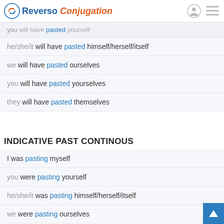Reverso Conjugation
you will have pasted yourself
he/she/it will have pasted himself/herself/itself
we will have pasted ourselves
you will have pasted yourselves
they will have pasted themselves
INDICATIVE PAST CONTINOUS
I was pasting myself
you were pasting yourself
he/she/it was pasting himself/herself/itself
we were pasting ourselves